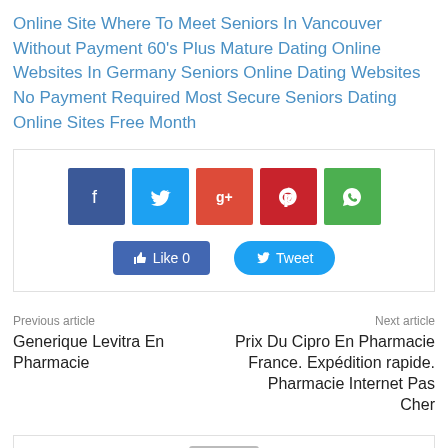Online Site Where To Meet Seniors In Vancouver Without Payment 60's Plus Mature Dating Online Websites In Germany Seniors Online Dating Websites No Payment Required Most Secure Seniors Dating Online Sites Free Month
[Figure (infographic): Social share buttons: Facebook, Twitter, Google+, Pinterest, WhatsApp icons, and Like 0 and Tweet buttons]
Previous article
Generique Levitra En Pharmacie
Next article
Prix Du Cipro En Pharmacie France. Expédition rapide. Pharmacie Internet Pas Cher
[Figure (other): Bottom partial box with grey bar]